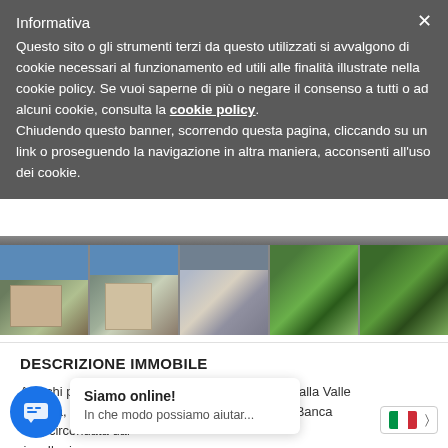Informativa
Questo sito o gli strumenti terzi da questo utilizzati si avvalgono di cookie necessari al funzionamento ed utili alle finalità illustrate nella cookie policy. Se vuoi saperne di più o negare il consenso a tutti o ad alcuni cookie, consulta la cookie policy. Chiudendo questo banner, scorrendo questa pagina, cliccando su un link o proseguendo la navigazione in altra maniera, acconsenti all'uso dei cookie.
[Figure (photo): Strip of 5 property photos showing exterior views of an Italian residential building and surrounding greenery]
DESCRIZIONE IMMOBILE
A pochi passi dalla Statale che collega a Ivrea e alla Valle d'Aosta, lungo la strada che si snoda dietro alla Banca ... nte, circondata dal ... ive. Il prim... alloggio occupa interamente il piano terreno, con ir
Siamo online!
In che modo possiamo aiutar...